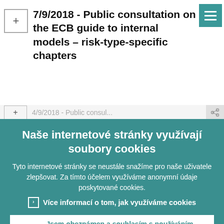7/9/2018 - Public consultation on the ECB guide to internal models – risk-type-specific chapters
Naše internetové stránky využívají soubory cookies
Tyto internetové stránky se neustále snažíme pro naše uživatele zlepšovat. Za tímto účelem využíváme anonymní údaje poskytované cookies.
› Více informací o tom, jak využíváme cookies
Jsem obeznámen a souhlasím s používáním cookies
Nesouhlasím s používáním cookies.